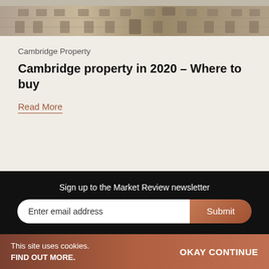[Figure (photo): Aerial/top-down view of a Cambridge building with classical architecture, stone facade, ornate windows and roofline details]
Cambridge Property
Cambridge property in 2020 – Where to buy
Read More
Sign up to the Market Review newsletter
Enter email address
Submit
[Figure (infographic): Social media icons: LinkedIn, Twitter, YouTube, Facebook, Instagram]
This site uses cookies. FIND OUT MORE. OKAY CONTINUE